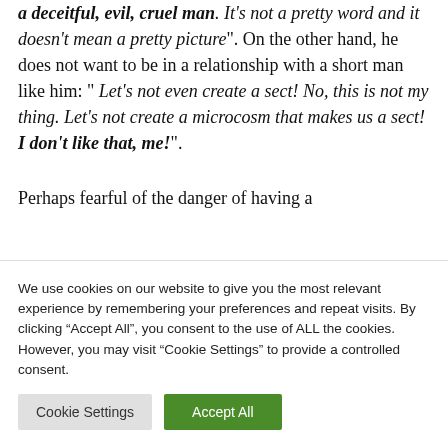a deceitful, evil, cruel man. It's not a pretty word and it doesn't mean a pretty picture". On the other hand, he does not want to be in a relationship with a short man like him: " Let's not even create a sect! No, this is not my thing. Let's not create a microcosm that makes us a sect! I don't like that, me!".
Perhaps fearful of the danger of having a
We use cookies on our website to give you the most relevant experience by remembering your preferences and repeat visits. By clicking “Accept All”, you consent to the use of ALL the cookies. However, you may visit "Cookie Settings" to provide a controlled consent.